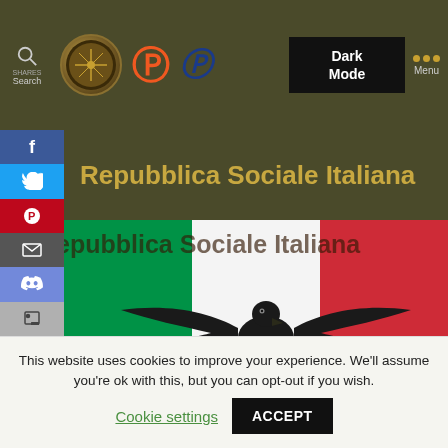[Figure (screenshot): Website navigation bar with search icon, SHARES label, circular logo, Patreon logo, PayPal logo, Dark Mode button, and Menu button with dots, on olive-green background]
Repubblica Sociale Italiana
[Figure (photo): Italian tricolor flag (green, white, red) with text 'Repubblica Sociale Italiana' overlaid, and a black eagle emblem spread-winged in the center, with a tank visible at bottom left]
This website uses cookies to improve your experience. We'll assume you're ok with this, but you can opt-out if you wish.
Cookie settings    ACCEPT